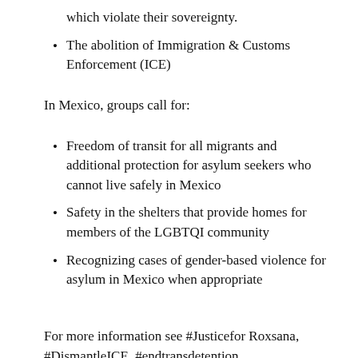which violate their sovereignty.
The abolition of Immigration & Customs Enforcement (ICE)
In Mexico, groups call for:
Freedom of transit for all migrants and additional protection for asylum seekers who cannot live safely in Mexico
Safety in the shelters that provide homes for members of the LGBTQI community
Recognizing cases of gender-based violence for asylum in Mexico when appropriate
For more information see #Justicefor Roxsana, #DismantleICE, #endtransdetention,